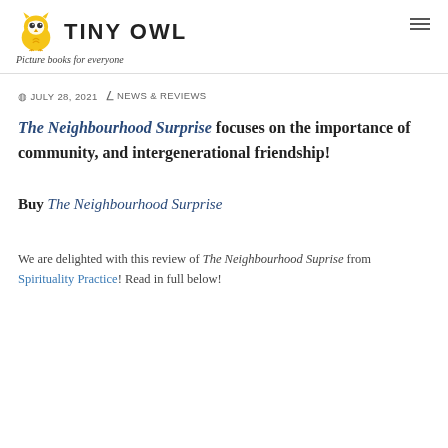TINY OWL — Picture books for everyone
JULY 28, 2021  NEWS & REVIEWS
The Neighbourhood Surprise focuses on the importance of community, and intergenerational friendship!
Buy The Neighbourhood Surprise
We are delighted with this review of The Neighbourhood Suprise from Spirituality Practice! Read in full below!